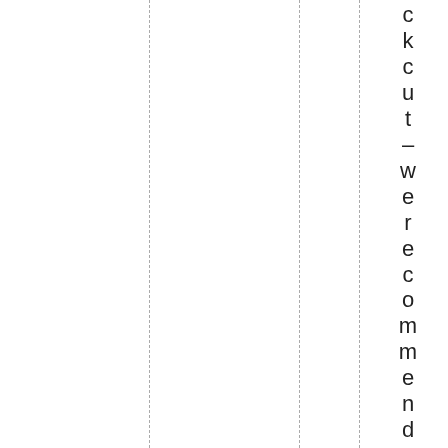ckcut – were recommend the metho